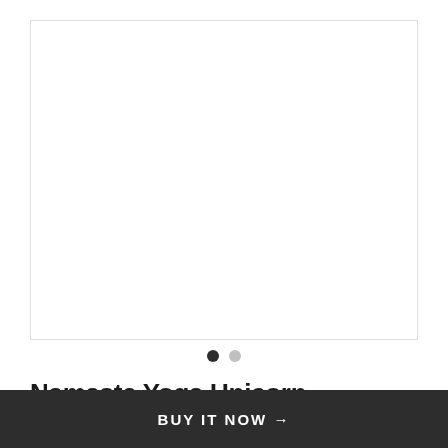[Figure (photo): Product image area for Namaste Yoga Unicorn Essential T-Shirt - Unisex Long Sleeve, white background with border]
Namaste Yoga Unicorn Essential T-Shirt - Unisex Long Sleeve
$28.95
BUY IT NOW →